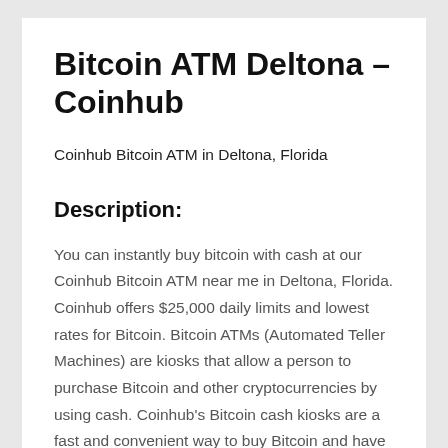Bitcoin ATM Deltona – Coinhub
Coinhub Bitcoin ATM in Deltona, Florida
Description:
You can instantly buy bitcoin with cash at our Coinhub Bitcoin ATM near me in Deltona, Florida. Coinhub offers $25,000 daily limits and lowest rates for Bitcoin. Bitcoin ATMs (Automated Teller Machines) are kiosks that allow a person to purchase Bitcoin and other cryptocurrencies by using cash. Coinhub's Bitcoin cash kiosks are a fast and convenient way to buy Bitcoin and have it delivered directly to your wallet in minutes. Coinhub Bitcoin machines can be used